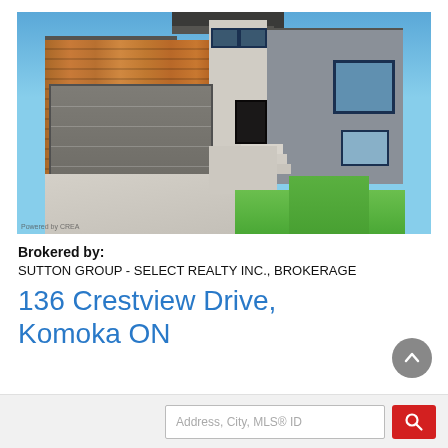[Figure (photo): Exterior photo of a modern two-story house with wood panel and stone facade, large garage door, concrete driveway, and manicured lawn. Watermark: 'Powered by CREA' in the bottom-left corner.]
Brokered by:
SUTTON GROUP - SELECT REALTY INC., BROKERAGE
136 Crestview Drive, Komoka ON
Address, City, MLS® ID